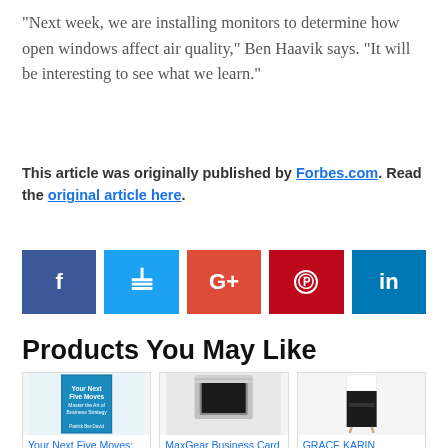“Next week, we are installing monitors to determine how open windows affect air quality,” Ben Haavik says. “It will be interesting to see what we learn.”
This article was originally published by Forbes.com. Read the original article here.
[Figure (other): Social media share buttons: Facebook (dark blue), Twitter (light blue), Google+ (red-orange), Pinterest (red), LinkedIn (blue)]
Products You May Like
[Figure (other): Product card: Your Next Five Moves: Master the Art of Business Strategy book cover (blue)]
[Figure (other): Product card: MaxGear Business Card Holder, metallic card case]
[Figure (other): Product card: GRACE KARIN Women's Work P[ants], black trousers shown on model]
Your Next Five Moves: Master the
MaxGear Business Card Holder, PU...
GRACE KARIN Women’s Work P...